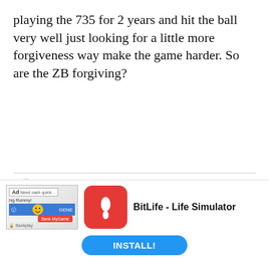playing the 735 for 2 years and hit the ball very well just looking for a little more forgiveness way make the game harder. So are the ZB forgiving?
Rob (Birdie'n Fool)
March 5, 2008 at 10:27pm
NSSTROKES,
Thats hard to tell and really depends on how you hit it. I found that the AP2 worked the ball
[Figure (screenshot): Advertisement banner for BitLife - Life Simulator app with an Install button]